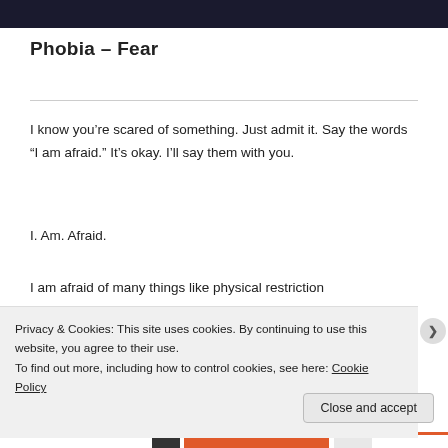Phobia – Fear
I know you’re scared of something. Just admit it. Say the words “I am afraid.” It’s okay. I’ll say them with you.
I. Am. Afraid.
I am afraid of many things like physical restriction
Privacy & Cookies: This site uses cookies. By continuing to use this website, you agree to their use.
To find out more, including how to control cookies, see here: Cookie Policy
Close and accept